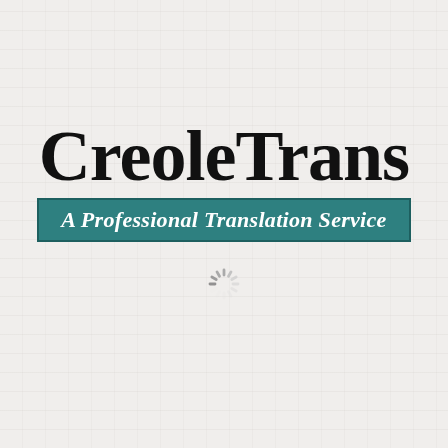[Figure (logo): CreoleTrans logo with large bold serif brand name and teal banner subtitle reading 'A Professional Translation Service', plus a loading spinner icon below]
CreoleTrans
A Professional Translation Service